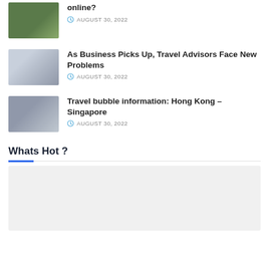[Figure (photo): House with green trees/garden thumbnail]
online?
AUGUST 30, 2022
[Figure (photo): Two business people with luggage at airport thumbnail]
As Business Picks Up, Travel Advisors Face New Problems
AUGUST 30, 2022
[Figure (photo): Woman with face mask at transit station thumbnail]
Travel bubble information: Hong Kong – Singapore
AUGUST 30, 2022
Whats Hot ?
[Figure (photo): Whats Hot section image placeholder (light gray)]